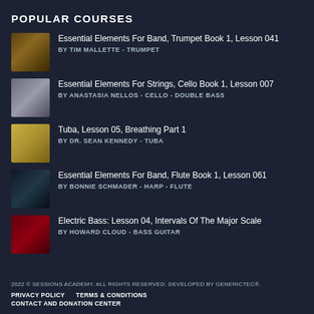POPULAR COURSES
Essential Elements For Band, Trumpet Book 1, Lesson 041
BY TIM MALLETTE - TRUMPET
Essential Elements For Strings, Cello Book 1, Lesson 007
BY ANASTASIA NELLOS - CELLO - DOUBLE BASS
Tuba, Lesson 05, Breathing Part 1
BY DR. SEAN KENNEDY - TUBA
Essential Elements For Band, Flute Book 1, Lesson 061
BY BONNIE SCHMADER - HARP - FLUTE
Electric Bass: Lesson 04, Intervals Of The Major Scale
BY HOWARD CLOUD - BASS GUITAR
2022 © SESSIONS ACADEMY. ALL RIGHTS RESERVED. DEVELOPED BY GENERICTEC®.
PRIVACY POLICY    TERMS & CONDITIONS
CONTACT AND DONATION CENTER